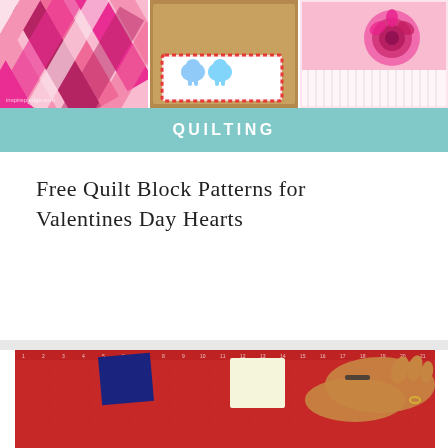[Figure (photo): Three-panel collage of craft/quilting images: left panel shows pink woven/braided fabric pattern, center panel shows an elephant-themed mug rug or table mat on wooden surface, right panel shows pink rose decorative item]
QUILTING
Free Quilt Block Patterns for Valentines Day Hearts
[Figure (photo): Photo of a quilting project in progress on a red cutting mat. Navy blue and white fabric squares and half-square triangle blocks are arranged in a tumbling blocks or staircase pattern. A person's hands are visible pressing/arranging the blocks.]